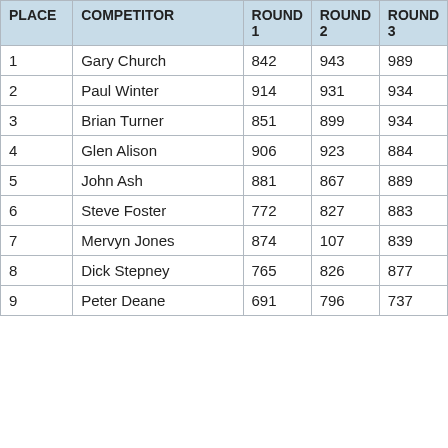| PLACE | COMPETITOR | ROUND 1 | ROUND 2 | ROUND 3 |
| --- | --- | --- | --- | --- |
| 1 | Gary Church | 842 | 943 | 989 |
| 2 | Paul Winter | 914 | 931 | 934 |
| 3 | Brian Turner | 851 | 899 | 934 |
| 4 | Glen Alison | 906 | 923 | 884 |
| 5 | John Ash | 881 | 867 | 889 |
| 6 | Steve Foster | 772 | 827 | 883 |
| 7 | Mervyn Jones | 874 | 107 | 839 |
| 8 | Dick Stepney | 765 | 826 | 877 |
| 9 | Peter Deane | 691 | 796 | 737 |